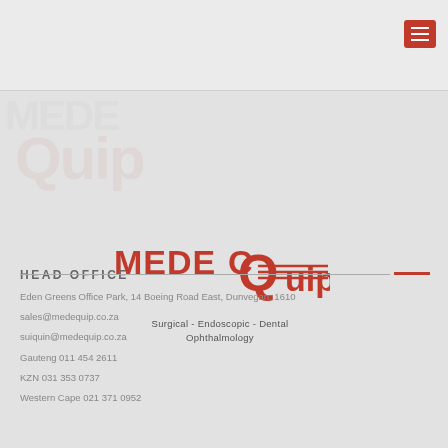[Figure (logo): MedeQuip logo with red stylized text and tagline: Surgical - Endoscopic - Dental Ophthalmology]
HEAD OFFICE
Eden Greens Office Park, 14 Boeing Road East, Dunvegan, 1610
sales@medequip.co.za
suiquin@medequip.co.za
Gauteng 011 454 2611
KZN 031 353 0737
Western Cape 021 371 0952